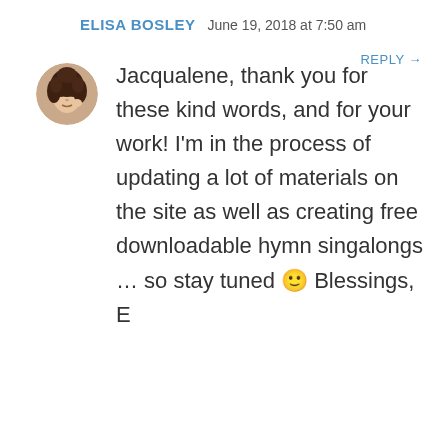ELISA BOSLEY  June 19, 2018 at 7:50 am
REPLY →
[Figure (photo): Circular avatar photo of a woman with curly dark hair]
Jacqualene, thank you for these kind words, and for your work! I'm in the process of updating a lot of materials on the site as well as creating free downloadable hymn singalongs … so stay tuned 🙂 Blessings, E